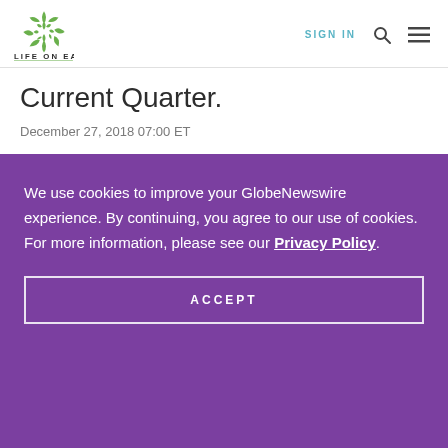[Figure (logo): Life on Earth logo — green leaf/snowflake circular icon above text LIFE ON EARTH]
SIGN IN
Current Quarter.
December 27, 2018 07:00 ET
We use cookies to improve your GlobeNewswire experience. By continuing, you agree to our use of cookies. For more information, please see our Privacy Policy.
ACCEPT